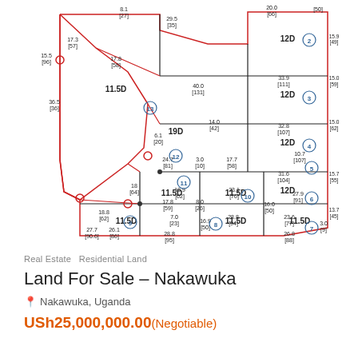[Figure (engineering-diagram): Land survey/subdivision plan showing multiple plots labeled 11.5D, 12D, 19D with numbered circles (circled numbers 2-13), dimensions in meters and feet (in brackets), boundary lines in red and black, plot corners marked with circles.]
Real Estate   Residential Land
Land For Sale – Nakawuka
Nakawuka, Uganda
USh25,000,000.00(Negotiable)